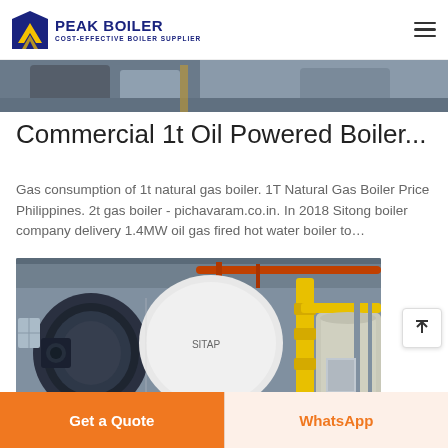[Figure (logo): Peak Boiler logo with blue mountain/arrow icon and text 'PEAK BOILER - COST-EFFECTIVE BOILER SUPPLIER']
[Figure (photo): Partial top image of industrial boiler equipment, cropped at top of page]
Commercial 1t Oil Powered Boiler...
Gas consumption of 1t natural gas boiler. 1T Natural Gas Boiler Price Philippines. 2t gas boiler - pichavaram.co.in. In 2018 Sitong boiler company delivery 1.4MW oil gas fired hot water boiler to...
[Figure (photo): Industrial gas-fired boiler installation showing a large cylindrical boiler with yellow gas piping, burner assembly, and control panel in a factory setting]